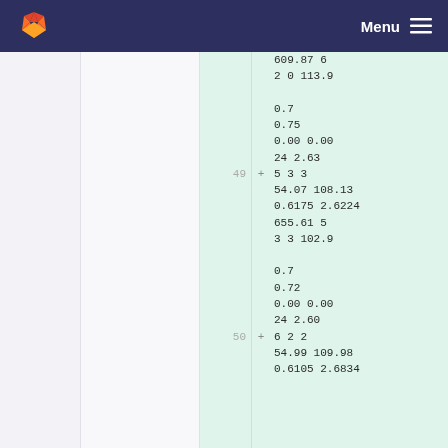Menu
| line | diff | data |
| --- | --- | --- |
|  |  | 609.87  6 |
|  |  | 2  0      113.9 |
|  |  |  |
|  |  | 0.7 |
|  |  | 0.75 |
|  |  | 0.00      0.00 |
|  |  | 24    2.63 |
| 49 | + | 5  3  3 |
|  |  | 54.07 108.13 |
|  |  | 0.6175  2.6224 |
|  |  |   655.61  5 |
|  |  | 3  3      102.9 |
|  |  |  |
|  |  | 0.7 |
|  |  | 0.72 |
|  |  | 0.00      0.00 |
|  |  | 24    2.60 |
| 50 | + | 6  2  2 |
|  |  | 54.99 109.98 |
|  |  | 0.6105  2.6834 |
|  |  |    ... |